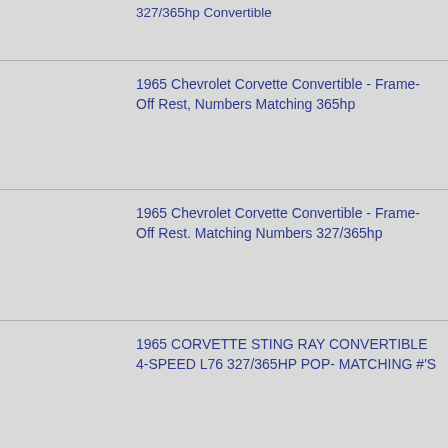327/365hp Convertible
1965 Chevrolet Corvette Convertible - Frame-Off Rest, Numbers Matching 365hp
1965 Chevrolet Corvette Convertible - Frame-Off Rest. Matching Numbers 327/365hp
1965 CORVETTE STING RAY CONVERTIBLE 4-SPEED L76 327/365HP POP- MATCHING #'S